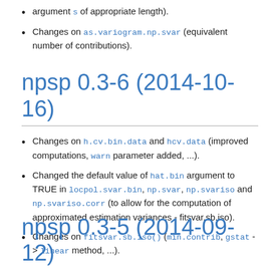argument s of appropriate length).
Changes on as.variogram.np.svar (equivalent number of contributions).
npsp 0.3-6 (2014-10-16)
Changes on h.cv.bin.data and hcv.data (improved computations, warn parameter added, ...).
Changed the default value of hat.bin argument to TRUE in locpol.svar.bin, np.svar, np.svariso and np.svariso.corr (to allow for the computation of approximated estimation variances - fitsvar.sb.iso).
Changes on fitsvar.sb.iso() (min.contrib, gstat -> linear method, ...).
npsp 0.3-5 (2014-09-12)